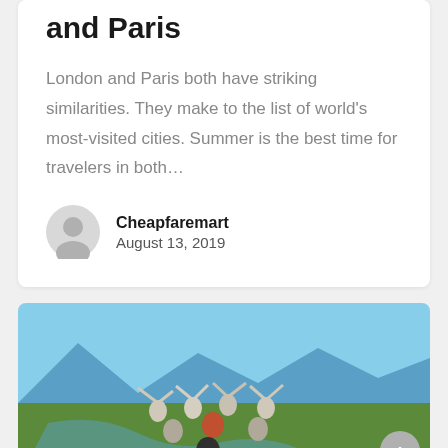and Paris
London and Paris both have striking similarities. They make to the list of world's most-visited cities. Summer is the best time for travelers in both…
Cheapfaremart
August 13, 2019
[Figure (photo): Group of people celebrating on a mountain peak with arms raised, scenic valley and river below under blue sky]